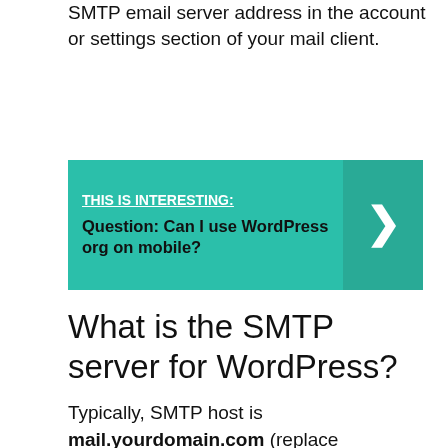SMTP email server address in the account or settings section of your mail client.
[Figure (infographic): Green callout box with 'THIS IS INTERESTING:' label and question 'Can I use WordPress org on mobile?' with a right-arrow chevron on the right side]
What is the SMTP server for WordPress?
Typically, SMTP host is mail.yourdomain.com (replace yourdomain.com with your own domain name). For SMTP Port 465 is commonly used. Next, you need to choose encryption. Most WordPress hosting companies support SSL and TLS.